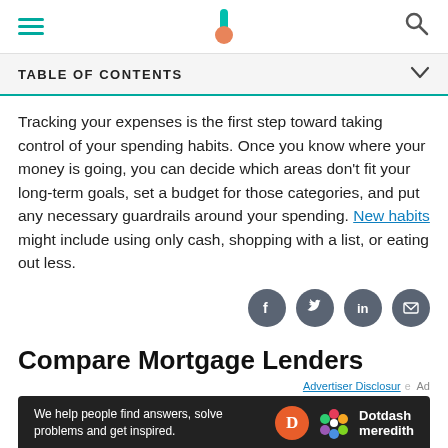TABLE OF CONTENTS
Tracking your expenses is the first step toward taking control of your spending habits. Once you know where your money is going, you can decide which areas don't fit your long-term goals, set a budget for those categories, and put any necessary guardrails around your spending. New habits might include using only cash, shopping with a list, or eating out less.
[Figure (infographic): Social sharing buttons row: Facebook, Twitter, LinkedIn, Email icons in dark gray circles]
Compare Mortgage Lenders
[Figure (infographic): Advertisement banner: 'We help people find answers, solve problems and get inspired.' with Dotdash Meredith logo]